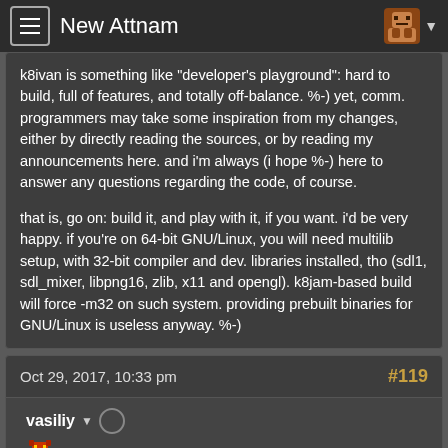New Attnam
k8ivan is something like "developer's playground": hard to build, full of features, and totally off-balance. %-) yet, comm. programmers may take some inspiration from my changes, either by directly reading the sources, or by reading my announcements here. and i'm always (i hope %-) here to answer any questions regarding the code, of course.

that is, go on: build it, and play with it, if you want. i'd be very happy. if you're on 64-bit GNU/Linux, you will need multilib setup, with 32-bit compiler and dev. libraries installed, tho (sdl1, sdl_mixer, libpng16, zlib, x11 and opengl). k8jam-based build will force -m32 on such system. providing prebuilt binaries for GNU/Linux is useless anyway. %-)
Oct 29, 2017, 10:33 pm   #119
vasiliy   kobold lord